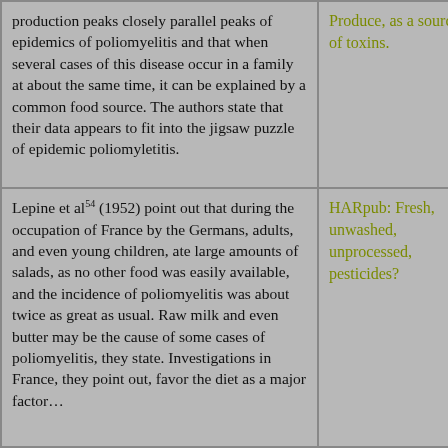| production peaks closely parallel peaks of epidemics of poliomyelitis and that when several cases of this disease occur in a family at about the same time, it can be explained by a common food source. The authors state that their data appears to fit into the jigsaw puzzle of epidemic poliomyletitis. | Produce, as a source of toxins. |
| Lepine et al54 (1952) point out that during the occupation of France by the Germans, adults, and even young children, ate large amounts of salads, as no other food was easily available, and the incidence of poliomyelitis was about twice as great as usual. Raw milk and even butter may be the cause of some cases of poliomyelitis, they state. Investigations in France, they point out, favor the diet as a major factor… | HARpub: Fresh, unwashed, unprocessed, pesticides? |